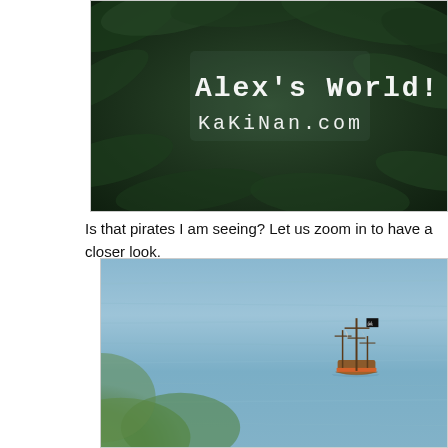[Figure (photo): Header image with dark green tree leaves/foliage in foreground, showing 'Alex's World! KaKiNan.com' text overlay in white on dark background]
Is that pirates I am seeing? Let us zoom in to have a closer look.
[Figure (photo): Zoomed-in photo of ocean/sea with blue water, blurred green foliage in bottom-left corner, and a small pirate ship with masts and skull-and-crossbones flag visible in the middle-right of the frame]